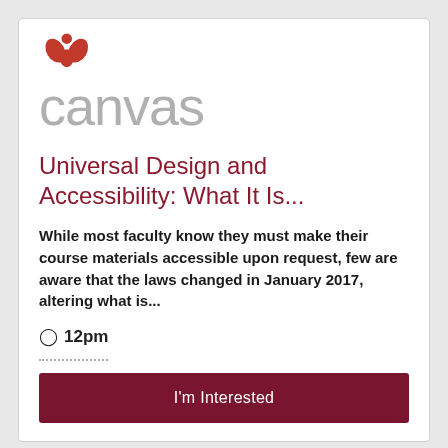[Figure (logo): Canvas LMS logo with red flame/leaf icon and grey 'canvas' wordmark]
Universal Design and Accessibility: What It Is...
While most faculty know they must make their course materials accessible upon request, few are aware that the laws changed in January 2017, altering what is...
12pm
I'm Interested
[Figure (logo): Florida State University seal/logo in grey]